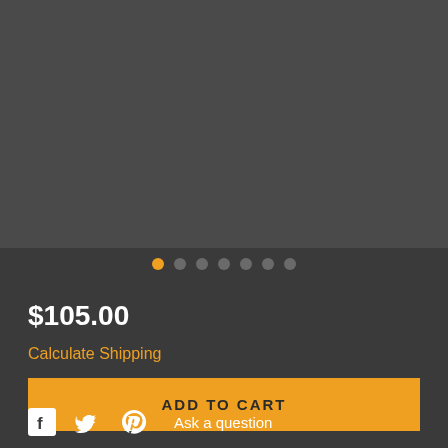[Figure (photo): Product image area - dark grey background placeholder for product carousel]
[Figure (other): Carousel navigation dots - 7 dots with first dot highlighted in orange]
$105.00
Calculate Shipping
ADD TO CART
Ask a question